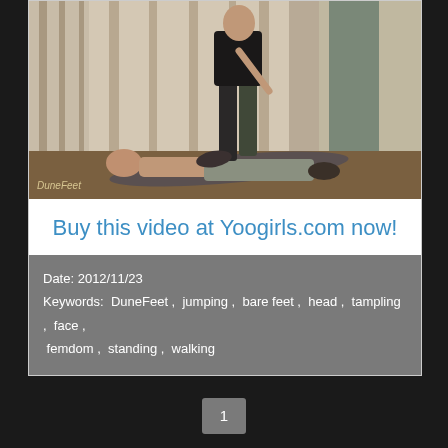[Figure (photo): A person standing over another person lying on the floor, indoor setting with curtains in background. Watermark reads 'DuneFeet' in bottom left.]
Buy this video at Yoogirls.com now!
Date: 2012/11/23
Keywords:  DuneFeet ,  jumping ,  bare feet ,  head ,  tampling ,  face ,  femdom ,  standing ,  walking
1